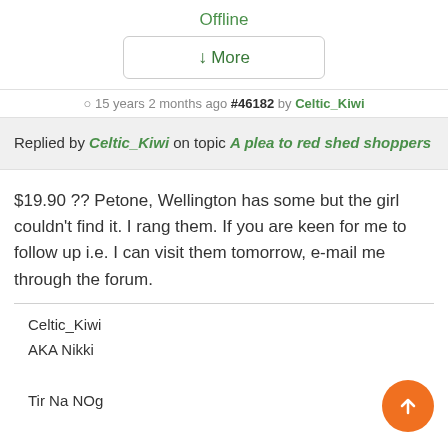Offline
↓More
15 years 2 months ago #46182 by Celtic_Kiwi
Replied by Celtic_Kiwi on topic A plea to red shed shoppers
$19.90 ?? Petone, Wellington has some but the girl couldn't find it. I rang them. If you are keen for me to follow up i.e. I can visit them tomorrow, e-mail me through the forum.
Celtic_Kiwi
AKA Nikki

Tir Na NOg